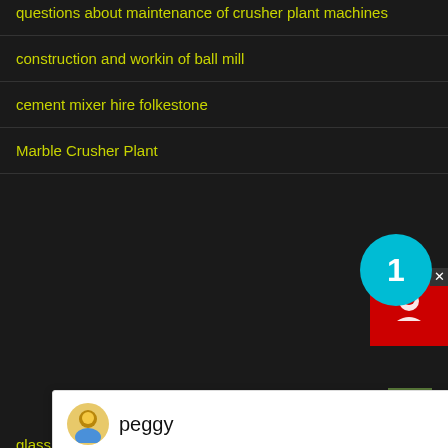questions about maintenance of crusher plant machines
construction and workin of ball mill
cement mixer hire folkestone
Marble Crusher Plant
[Figure (screenshot): Chat popup with avatar of 'peggy' and welcome message: Welcome, please choose: 1.English 2.Русский 3.Français 4.Español 5.bahasa Indonesia 6.عربى]
glass crusher to rent uk
mini ball mill plant and price
Seive Use Iron Ore In India
ambuja cement product price for 50kg